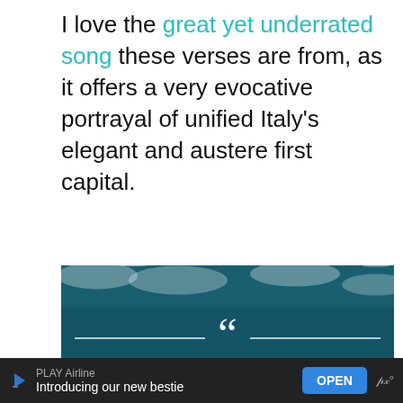I love the great yet underrated song these verses are from, as it offers a very evocative portrayal of unified Italy's elegant and austere first capital.
[Figure (photo): Ocean waves from above with white foam, overlaid with a large quotation mark icon, horizontal white lines on either side, and bold white text reading: 'Here we are at last. The Italian proverb says "See Naples and die" but I say, see Naples and live; for'. Blue circular buttons on the right side: heart icon, number 1, and share icon.]
PLAY Airline Introducing our new bestie OPEN